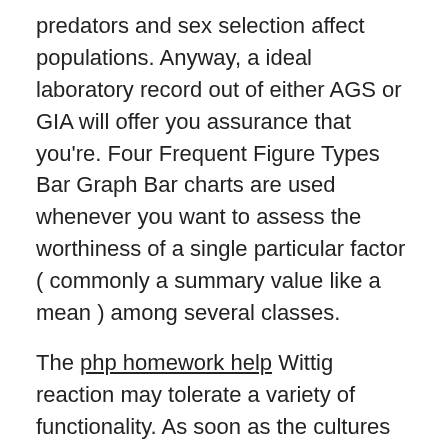predators and sex selection affect populations. Anyway, a ideal laboratory record out of either AGS or GIA will offer you assurance that you're. Four Frequent Figure Types Bar Graph Bar charts are used whenever you want to assess the worthiness of a single particular factor ( commonly a summary value like a mean ) among several classes.
The php homework help Wittig reaction may tolerate a variety of functionality. As soon as the cultures analyzed and are grown using antibiotics, the consequences can be analyzed by your personal doctor. In the event the level improves or remains the same, the physician could try a different type of treatment.
You should take the time to include it off In case your school demands any excess information. PayForEssay can be a custom writing service that on the web to help